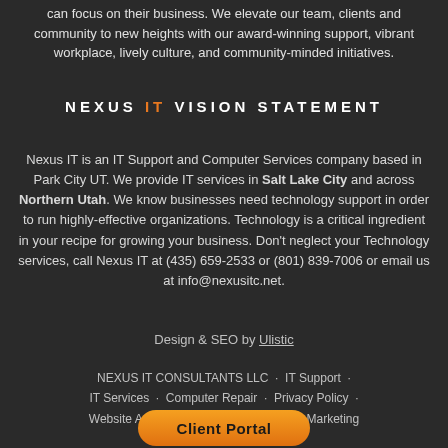can focus on their business. We elevate our team, clients and community to new heights with our award-winning support, vibrant workplace, lively culture, and community-minded initiatives.
NEXUS IT VISION STATEMENT
Nexus IT is an IT Support and Computer Services company based in Park City UT. We provide IT services in Salt Lake City and across Northern Utah. We know businesses need technology support in order to run highly-effective organizations. Technology is a critical ingredient in your recipe for growing your business. Don't neglect your Technology services, call Nexus IT at (435) 659-2533 or (801) 839-7006 or email us at info@nexusitc.net.
Design & SEO by Ulistic
NEXUS IT CONSULTANTS LLC · IT Support · IT Services · Computer Repair · Privacy Policy · Website Accessibility · Sitemap · MSP Marketing
Client Portal